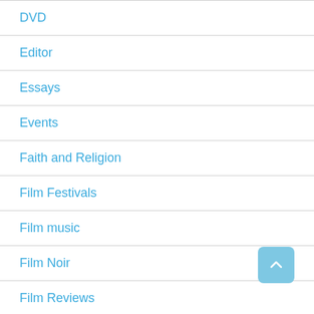DVD
Editor
Essays
Events
Faith and Religion
Film Festivals
Film music
Film Noir
Film Reviews